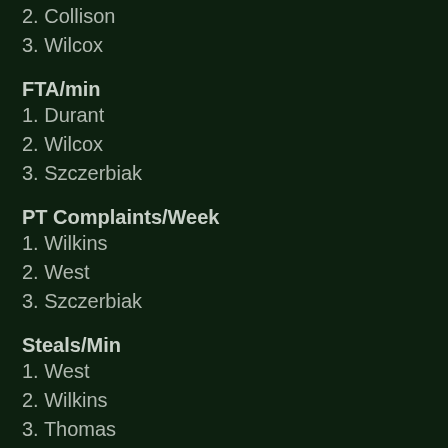2. Collison
3. Wilcox
FTA/min
1. Durant
2. Wilcox
3. Szczerbiak
PT Complaints/Week
1. Wilkins
2. West
3. Szczerbiak
Steals/Min
1. West
2. Wilkins
3. Thomas
FT%
1. Ridnour
2. Durant
3. Szczerbiak